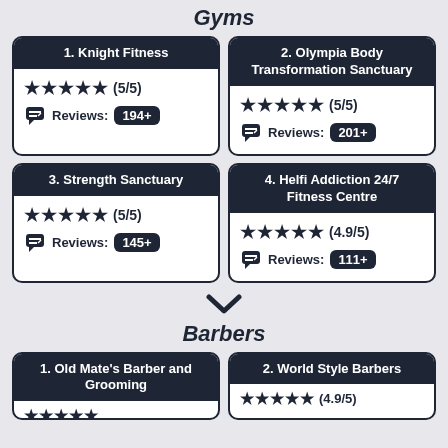Gyms
[Figure (infographic): Card for 1. Knight Fitness with 5/5 stars and 194+ reviews]
[Figure (infographic): Card for 2. Olympia Body Transformation Sanctuary with 5/5 stars and 201+ reviews]
[Figure (infographic): Card for 3. Strength Sanctuary with 5/5 stars and 145+ reviews]
[Figure (infographic): Card for 4. Helfi Addiction 24/7 Fitness Centre with 4.9/5 stars and 111+ reviews]
[Figure (infographic): Chevron/arrow down icon]
Barbers
[Figure (infographic): Card for 1. Old Mate's Barber and Grooming (partial)]
[Figure (infographic): Card for 2. World Style Barbers with 4.9/5 stars (partial)]